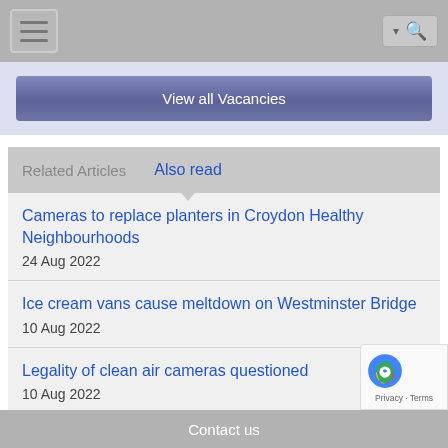Navigation bar with menu and search
View all Vacancies
Related Articles  Also read
Cameras to replace planters in Croydon Healthy Neighbourhoods
24 Aug 2022
Ice cream vans cause meltdown on Westminster Bridge
10 Aug 2022
Legality of clean air cameras questioned
10 Aug 2022
Contact us